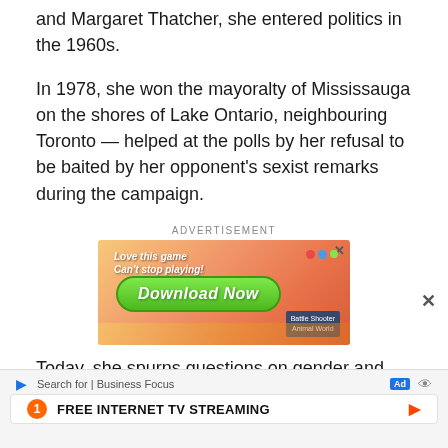and Margaret Thatcher, she entered politics in the 1960s.
In 1978, she won the mayoralty of Mississauga on the shores of Lake Ontario, neighbouring Toronto — helped at the polls by her refusal to be baited by her opponent's sexist remarks during the campaign.
ADVERTISEMENT
[Figure (screenshot): Mobile game advertisement banner: orange gradient background with 'Love this game Can't stop playing!' text, green 'Download Now' button, colorful game pieces, and 'Battle Shooter Animal World' game label in bottom right corner.]
Today, she spurns questions on gender and politics. "It has not been difficult at all. I have been supporte
Search for | Business Focus  1  FREE INTERNET TV STREAMING